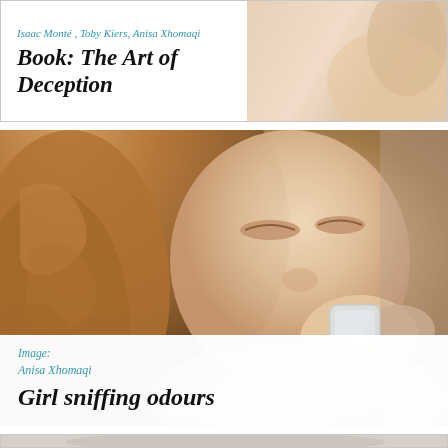[Figure (photo): Top card with white background, partial image visible at right edge. Contains caption label and book title.]
Isaac Monté , Toby Kiers, Anisa Xhomaqi
Book: The Art of Deception
[Figure (photo): Close-up photograph of a young woman with curly reddish-blonde hair, eyes closed, smelling from a small glass jar held to her nose.]
Image:
Anisa Xhomaqi
Girl sniffing odours
[Figure (photo): Partially visible photograph at the bottom of the page, showing a light-colored textured object, possibly a knitted or lace fabric on a neutral background.]